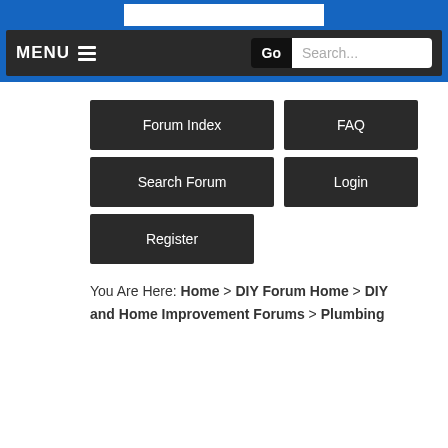MENU  Go  Search...
Forum Index
FAQ
Search Forum
Login
Register
You Are Here:  Home  >  DIY Forum Home  >  DIY and Home Improvement Forums  >  Plumbing